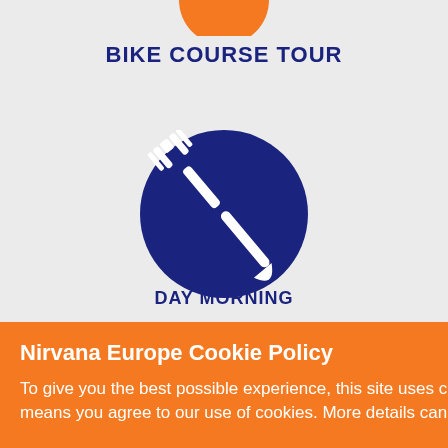[Figure (illustration): Partial orange circle at top center (bottom half of an orange circle partially cropped at top)]
BIKE COURSE TOUR
[Figure (illustration): Dark navy blue circle icon with white crossed fork and knife utensils]
DAY MORNING
Nirvana Europe Cookie Policy
To give you the best possible experience, this site uses cookies. Using this website means you agree to our use of cookies. More details can be found here.
Message